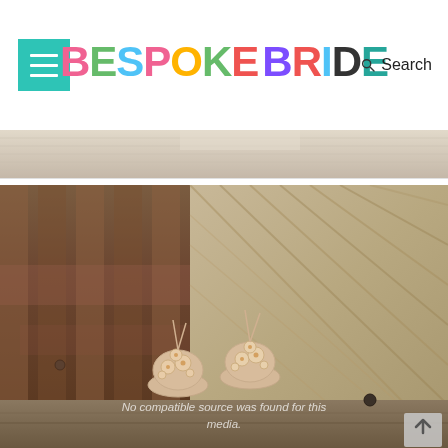BESPOKE BRIDE — Search
[Figure (photo): Top image strip showing a partial outdoor scene, cropped at top]
[Figure (photo): Bridal sandals with floral bead embellishments placed against rustic wooden barn wall and corrugated metal, with overlay text 'No compatible source was found for this media.']